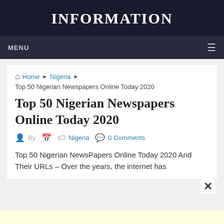INFORMATION
MENU
Home ▶ Nigeria ▶
Top 50 Nigerian Newspapers Online Today 2020
Top 50 Nigerian Newspapers Online Today 2020
By   Nigeria   0 Comments
Top 50 Nigerian NewsPapers Online Today 2020 And Their URLs – Over the years, the internet has